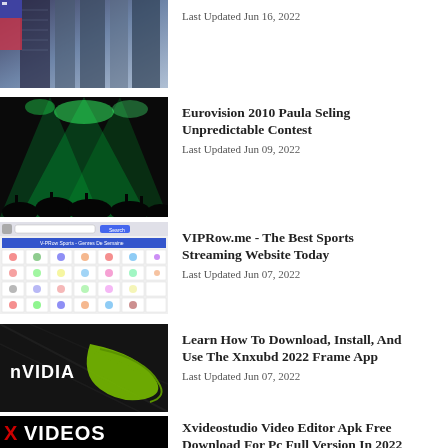[Figure (photo): Tall building with flag, viewed from below against a gray sky]
Last Updated Jun 16, 2022
[Figure (photo): Concert crowd silhouette with green stage lighting]
Eurovision 2010 Paula Seling Unpredictable Contest
Last Updated Jun 09, 2022
[Figure (screenshot): VIPRow Sports website grid showing sports categories with icons]
VIPRow.me - The Best Sports Streaming Website Today
Last Updated Jun 07, 2022
[Figure (photo): nVIDIA logo on dark textured background with green swoosh]
Learn How To Download, Install, And Use The Xnxubd 2022 Frame App
Last Updated Jun 07, 2022
[Figure (logo): XVIDEOS logo in red and white on black background]
Xvideostudio Video Editor Apk Free Download For Pc Full Version In 2022